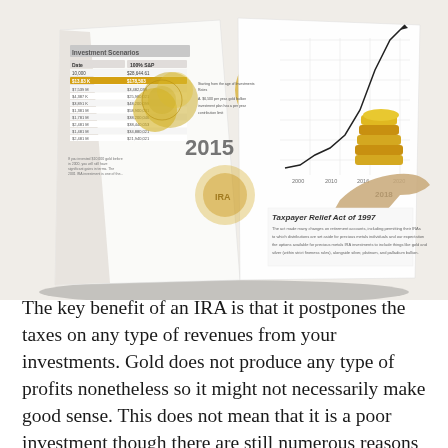[Figure (photo): A photograph of an open financial booklet/brochure about gold IRA investing. The booklet shows pages with a gold investment scenarios table, gold coins, golden gears, a chart with years 2000-2020 labeled, a hand holding gold coins/bars, and text about the Taxpayer Relief Act of 1997. The cover shows '2015' and features gold-themed imagery.]
The key benefit of an IRA is that it postpones the taxes on any type of revenues from your investments. Gold does not produce any type of profits nonetheless so it might not necessarily make good sense. This does not mean that it is a poor investment though there are still numerous reasons you ought to take into consideration  including this to your portfolio. Gold